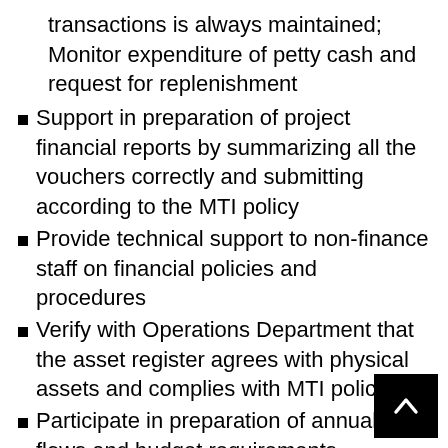transactions is always maintained; Monitor expenditure of petty cash and request for replenishment
Support in preparation of project financial reports by summarizing all the vouchers correctly and submitting according to the MTI policy
Provide technical support to non-finance staff on financial policies and procedures
Verify with Operations Department that the asset register agrees with physical assets and complies with MTI policy
Participate in preparation of annual c[ash] flows and budget requirements
Support safeguarding of program